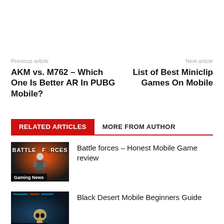Previous article
Next article
AKM vs. M762 – Which One Is Better AR In PUBG Mobile?
List of Best Miniclip Games On Mobile
RELATED ARTICLES   MORE FROM AUTHOR
[Figure (photo): Battle Forces game thumbnail with orange explosion and soldier figure, Gaming News badge]
Battle forces – Honest Mobile Game review
[Figure (photo): Black Desert Mobile game thumbnail with skull and blue HUD elements, Gaming News badge]
Black Desert Mobile Beginners Guide